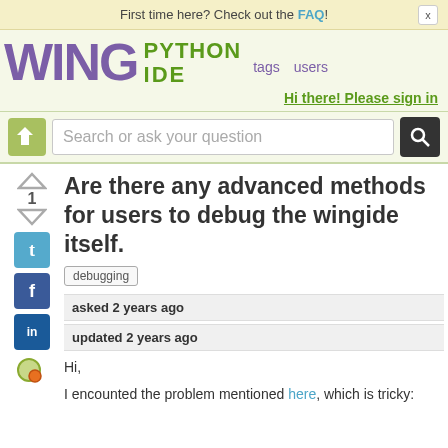First time here? Check out the FAQ!
[Figure (logo): Wing Python IDE logo with navigation links (tags, users)]
Hi there! Please sign in
Search or ask your question
Are there any advanced methods for users to debug the wingide itself.
debugging
asked 2 years ago
updated 2 years ago
Hi,
I encounted the problem mentioned here, which is tricky: